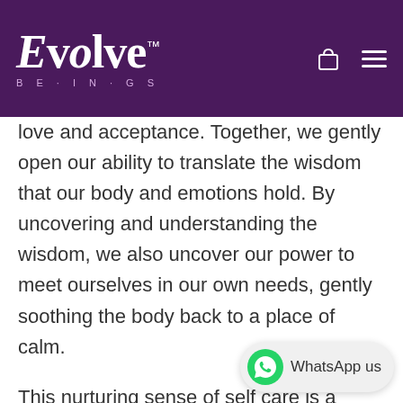Evolve Beings
love and acceptance. Together, we gently open our ability to translate the wisdom that our body and emotions hold. By uncovering and understanding the wisdom, we also uncover our power to meet ourselves in our own needs, gently soothing the body back to a place of calm.
This nurturing sense of self care is a practice that can offer huge relief to anxiety whilst listening to the download, as well as within our daily lives. It can support anyone experiencing problems